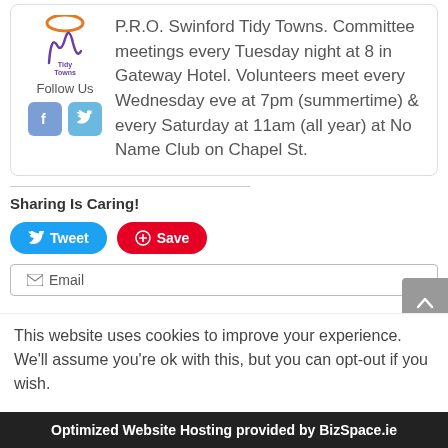[Figure (logo): Swinford Tidy Towns logo with cursive mark and text 'Tidy Towns']
Follow Us
[Figure (infographic): Facebook and Twitter social media icon buttons]
P.R.O. Swinford Tidy Towns. Committee meetings every Tuesday night at 8 in Gateway Hotel. Volunteers meet every Wednesday eve at 7pm (summertime) & every Saturday at 11am (all year) at No Name Club on Chapel St.
Sharing Is Caring!
[Figure (infographic): Tweet, Save (Pinterest), and Email share buttons]
This website uses cookies to improve your experience. We'll assume you're ok with this, but you can opt-out if you wish.
Optimized Website Hosting provided by BizSpace.ie